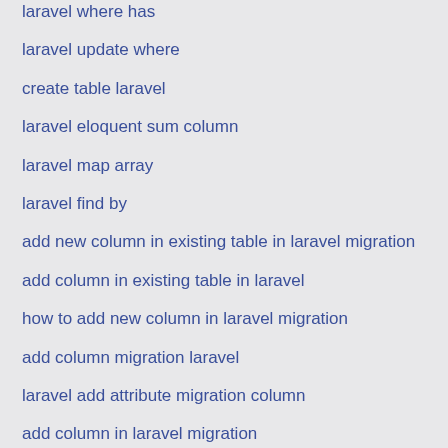laravel where has
laravel update where
create table laravel
laravel eloquent sum column
laravel map array
laravel find by
add new column in existing table in laravel migration
add column in existing table in laravel
how to add new column in laravel migration
add column migration laravel
laravel add attribute migration column
add column in laravel migration
migrate to an existing table in laravel commad
add another field in existing migration laravel